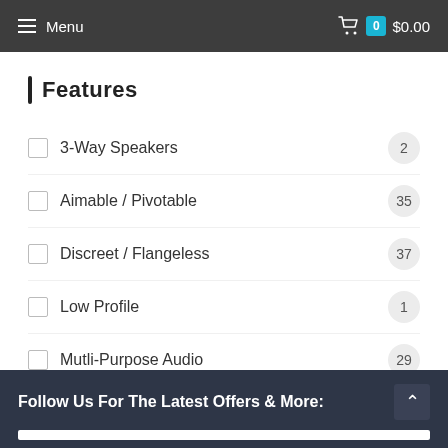Menu   0  $0.00
Features
3-Way Speakers  2
Aimable / Pivotable  35
Discreet / Flangeless  37
Low Profile  1
Mutli-Purpose Audio  29
Stereo Speaker  3
Follow Us For The Latest Offers & More: